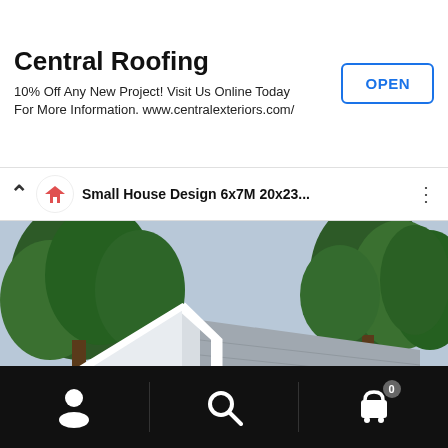[Figure (screenshot): Mobile app screenshot showing an ad banner for Central Roofing at the top, a YouTube-style video thumbnail of a small house design (6x7M 20x23), and a bottom navigation bar with person, search, and cart icons.]
Central Roofing
10% Off Any New Project! Visit Us Online Today For More Information. www.centralexteriors.com/
OPEN
Small House Design 6x7M 20x23...
0